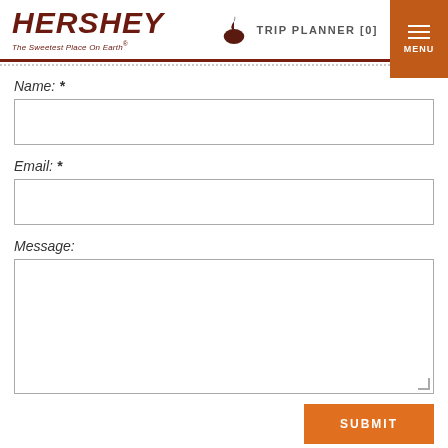HERSHEY The Sweetest Place On Earth®
TRIP PLANNER [0]
MENU
Name: *
Email: *
Message:
SUBMIT